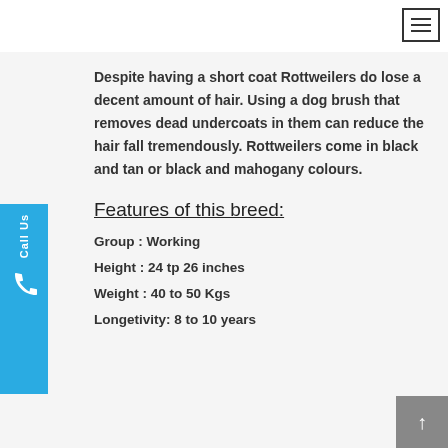Despite having a short coat Rottweilers do lose a decent amount of hair. Using a dog brush that removes dead undercoats in them can reduce the hair fall tremendously. Rottweilers come in black and tan or black and mahogany colours.
Features of this breed:
Group : Working
Height : 24 tp 26 inches
Weight : 40 to 50 Kgs
Longetivity: 8 to 10 years